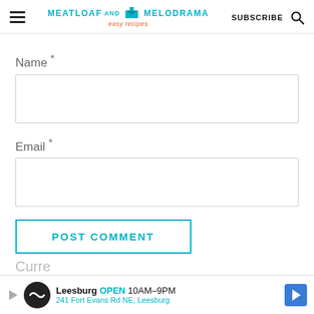MEATLOAF AND MELODRAMA easy recipes | SUBSCRIBE
Name *
Email *
POST COMMENT
[Figure (screenshot): Advertisement banner: Leesburg OPEN 10AM-9PM, 241 Fort Evans Rd NE, Leesburg]
Curre